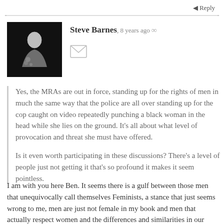Reply
[Figure (photo): Black and white avatar photo of Steve Barnes showing a person in dark background]
Steve Barnes, 8 years ago ∞
Yes, the MRAs are out in force, standing up for the rights of men in much the same way that the police are all over standing up for the cop caught on video repeatedly punching a black woman in the head while she lies on the ground. It's all about what level of provocation and threat she must have offered.

Is it even worth participating in these discussions? There's a level of people just not getting it that's so profound it makes it seem pointless.
I am with you here Ben. It seems there is a gulf between those men that unequivocally call themselves Feminists, a stance that just seems wrong to me, men are just not female in my book and men that actually respect women and the differences and similarities in our nature. We are